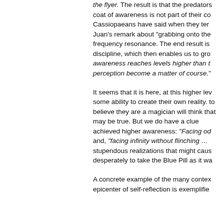the flyer. The result is that the predators coat of awareness is not part of their co Cassiopaeans have said when they ter Juan's remark about "grabbing onto the frequency resonance. The end result is discipline, which then enables us to gro awareness reaches levels higher than t perception become a matter of course."
It seems that it is here, at this higher lev some ability to create their own reality. to believe they are a magician will think that may be true. But we do have a clue achieved higher awareness: "Facing od and, "facing infinity without flinching … stupendous realizations that might caus desperately to take the Blue Pill as it wa
A concrete example of the many contex epicenter of self-reflection is exemplifie